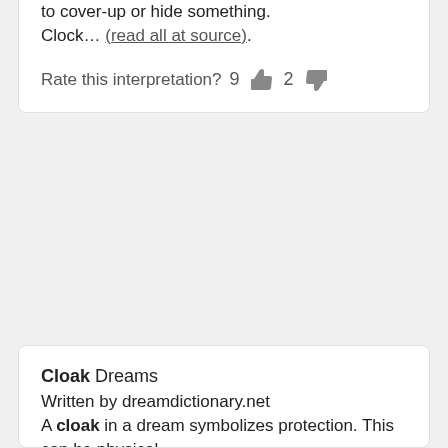to cover-up or hide something. Clock… (read all at source).
Rate this interpretation? 9 👍 2 👎
Cloak Dreams
Written by dreamdictionary.net
A cloak in a dream symbolizes protection. This can be physical, emotional or spiritual protection